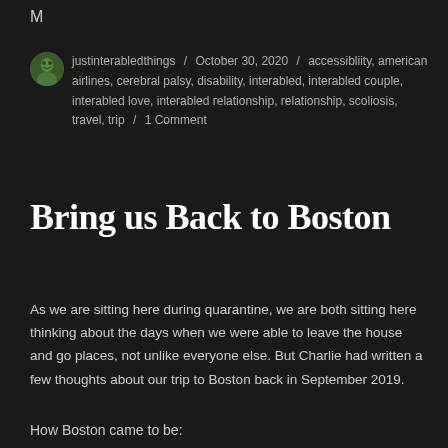M
justinterabledthings / October 30, 2020 / accessibliity, american airlines, cerebral palsy, disability, interabled, interabled couple, interabled love, interabled relationship, relationship, scoliosis, travel, trip / 1 Comment
Bring us Back to Boston
As we are sitting here during quarantine, we are both sitting here thinking about the days when we were able to leave the house and go places, not unlike everyone else. But Charlie had written a few thoughts about our trip to Boston back in September 2019.
How Boston came to be: